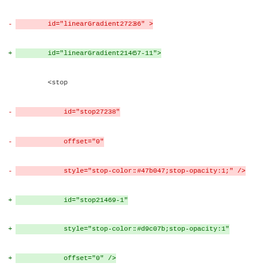diff code block showing SVG linearGradient XML diff with removed (red) and added (green) lines
[Figure (screenshot): Code diff showing SVG linearGradient XML. Red highlighted lines (removed) show old gradient stop IDs and values, green highlighted lines (added) show new gradient stop IDs, colors, and coordinates. Neutral lines show unchanged XML structure tags.]